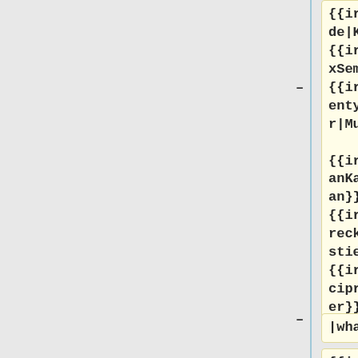{{ircnick|aude|Katie}}, {{ircnick|MaxSem|Max}}, {{ircnick|twentyafterfour|Mukunda}}, {{ircnick|RoanKattouw|Roan}}, {{ircnick|Dereckson|Sébastien}}, or {{ircnick|thcipriani|Tyler}}
|what=
{{ircnick|irc-